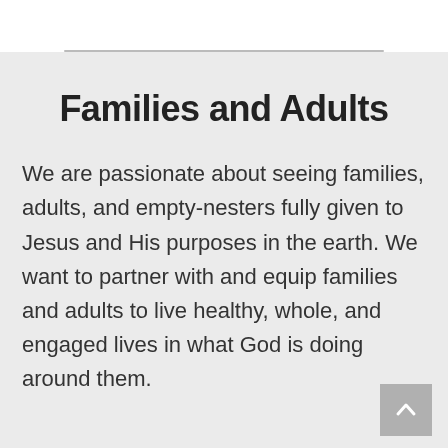Families and Adults
We are passionate about seeing families, adults, and empty-nesters fully given to Jesus and His purposes in the earth. We want to partner with and equip families and adults to live healthy, whole, and engaged lives in what God is doing around them.